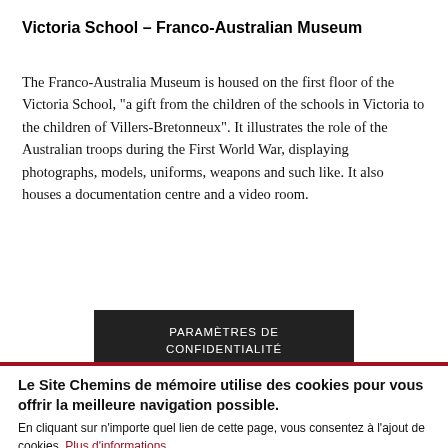Victoria School – Franco-Australian Museum
The Franco-Australia Museum is housed on the first floor of the Victoria School, "a gift from the children of the schools in Victoria to the children of Villers-Bretonneux". It illustrates the role of the Australian troops during the First World War, displaying photographs, models, uniforms, weapons and such like. It also houses a documentation centre and a video room.
[Figure (other): Dark button labelled PARAMÈTRES DE CONFIDENTIALITÉ]
Le Site Chemins de mémoire utilise des cookies pour vous offrir la meilleure navigation possible. En cliquant sur n'importe quel lien de cette page, vous consentez à l'ajout de cookies. Plus d'informations
ACCEPTER | NON, MERCI.